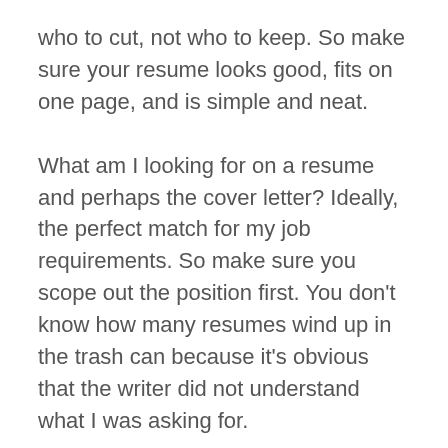who to cut, not who to keep. So make sure your resume looks good, fits on one page, and is simple and neat.
What am I looking for on a resume and perhaps the cover letter? Ideally, the perfect match for my job requirements. So make sure you scope out the position first. You don't know how many resumes wind up in the trash can because it's obvious that the writer did not understand what I was asking for.
And don't make the mistake of listing everything you've ever done, every skill you have and every